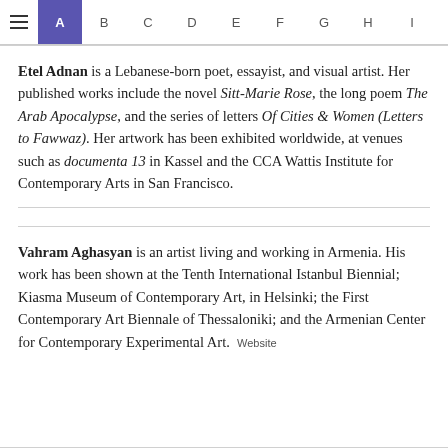≡ A B C D E F G H I J K
Etel Adnan is a Lebanese-born poet, essayist, and visual artist. Her published works include the novel Sitt-Marie Rose, the long poem The Arab Apocalypse, and the series of letters Of Cities & Women (Letters to Fawwaz). Her artwork has been exhibited worldwide, at venues such as documenta 13 in Kassel and the CCA Wattis Institute for Contemporary Arts in San Francisco.
Vahram Aghasyan is an artist living and working in Armenia. His work has been shown at the Tenth International Istanbul Biennial; Kiasma Museum of Contemporary Art, in Helsinki; the First Contemporary Art Biennale of Thessaloniki; and the Armenian Center for Contemporary Experimental Art. Website